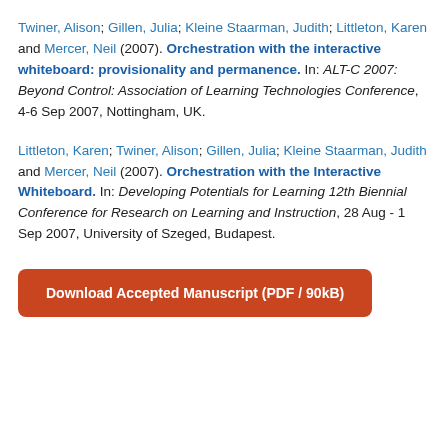Twiner, Alison; Gillen, Julia; Kleine Staarman, Judith; Littleton, Karen and Mercer, Neil (2007). Orchestration with the interactive whiteboard: provisionality and permanence. In: ALT-C 2007: Beyond Control: Association of Learning Technologies Conference, 4-6 Sep 2007, Nottingham, UK.
Littleton, Karen; Twiner, Alison; Gillen, Julia; Kleine Staarman, Judith and Mercer, Neil (2007). Orchestration with the Interactive Whiteboard. In: Developing Potentials for Learning 12th Biennial Conference for Research on Learning and Instruction, 28 Aug - 1 Sep 2007, University of Szeged, Budapest.
Download Accepted Manuscript (PDF / 90kB)